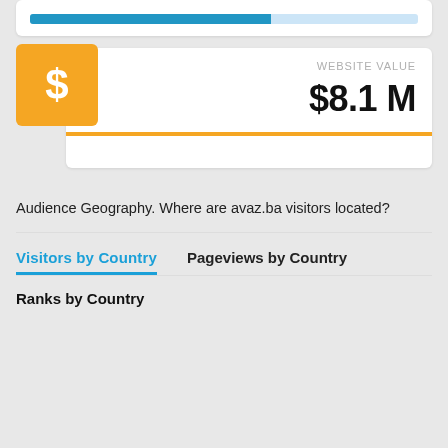[Figure (infographic): Partial top card with blue progress bar showing approximately 62% fill]
[Figure (infographic): Website value card with orange dollar sign icon showing $8.1 M with orange bottom line]
Audience Geography. Where are avaz.ba visitors located?
Visitors by Country
Pageviews by Country
Ranks by Country